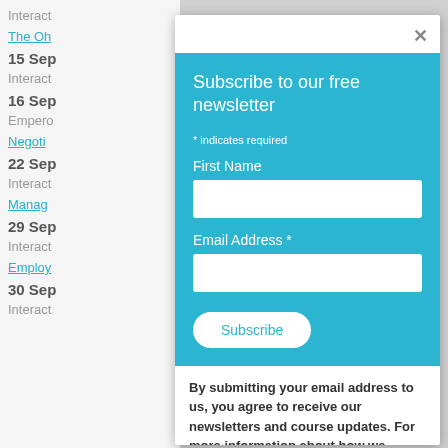Interact
The Oh
15 Sep
Interact
16 Sep
Empero
Negoti
22 Sep
Interact
Manag
29 Sep
Interact
Employ
30 Sep
Interact
Subscribe to our free newsletter
* indicates required
First Name
Email Address *
Subscribe
By submitting your email address to us, you agree to receive our newsletters and course updates. For more information about how we protect your personal information, click here .